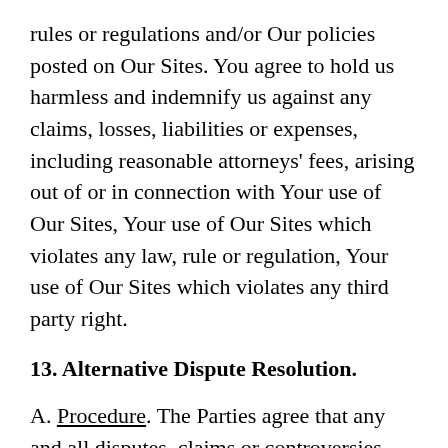rules or regulations and/or Our policies posted on Our Sites. You agree to hold us harmless and indemnify us against any claims, losses, liabilities or expenses, including reasonable attorneys' fees, arising out of or in connection with Your use of Our Sites, Your use of Our Sites which violates any law, rule or regulation, Your use of Our Sites which violates any third party right.
13. Alternative Dispute Resolution.
A. Procedure. The Parties agree that any and all disputes, claims or controversies arising out of or related to these Terms or Your use of Our Sites shall be submitted to mediation and if the matter is not resolved through mediation, it shall be submitted for arbitration. Unless the parties agree otherwise, any mediation and/or arbitration shall take place in the State of New York, New York County, and shall be